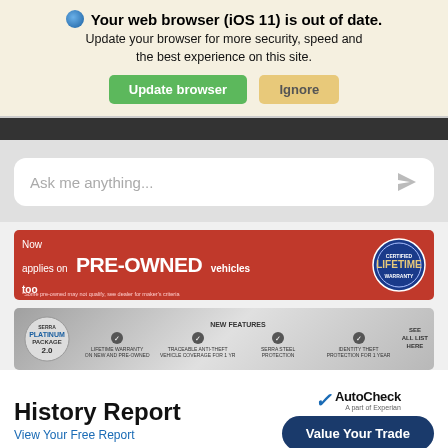Your web browser (iOS 11) is out of date. Update your browser for more security, speed and the best experience on this site. Update browser  Ignore
[Figure (screenshot): Dark navigation bar stub at top of webpage]
[Figure (screenshot): Search input box with placeholder text 'Ask me anything...' and send arrow icon]
[Figure (infographic): Red banner ad: 'Now applies on PRE-OWNED vehicles too' with Lifetime warranty badge]
[Figure (infographic): Serra Platinum Package 2.0 banner ad with new features: Lifetime Warranty on New and Pre-Owned, Traceable Anti-Theft, Serra Steel Protection, Identity Theft Protection, See All List Here]
History Report
View Your Free Report
[Figure (infographic): Value Your Trade button and AutoCheck (a part of Experian) logo]